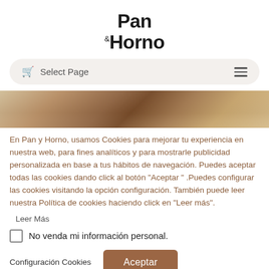Pan & Horno
[Figure (screenshot): Navigation bar with shopping cart icon, 'Select Page' text, and hamburger menu on a light beige rounded background]
[Figure (photo): Partial photo of bread or baked goods in warm brown tones]
En Pan y Horno, usamos Cookies para mejorar tu experiencia en nuestra web, para fines analíticos y para mostrarle publicidad personalizada en base a tus hábitos de navegación. Puedes aceptar todas las cookies dando click al botón "Aceptar " .Puedes configurar las cookies visitando la opción configuración. También puede leer nuestra Política de cookies haciendo click en "Leer más".
Leer Más
No venda mi información personal.
Configuración Cookies
Aceptar